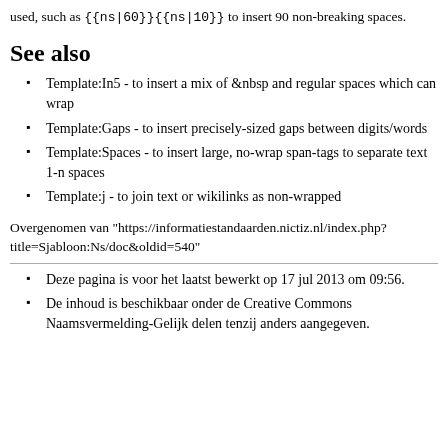used, such as {{ns|60}}{{ns|10}} to insert 90 non-breaking spaces.
See also
Template:In5 - to insert a mix of &nbsp and regular spaces which can wrap
Template:Gaps - to insert precisely-sized gaps between digits/words
Template:Spaces - to insert large, no-wrap span-tags to separate text 1-n spaces
Template:j - to join text or wikilinks as non-wrapped
Overgenomen van "https://informatiestandaarden.nictiz.nl/index.php?title=Sjabloon:Ns/doc&oldid=540"
Deze pagina is voor het laatst bewerkt op 17 jul 2013 om 09:56.
De inhoud is beschikbaar onder de Creative Commons Naamsvermelding-Gelijk delen tenzij anders aangegeven.